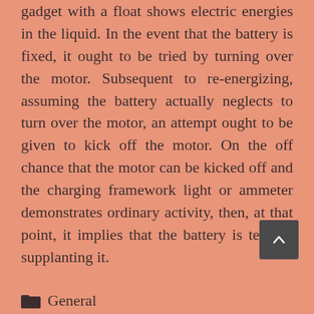gadget with a float shows electric energies in the liquid. In the event that the battery is fixed, it ought to be tried by turning over the motor. Subsequent to re-energizing, assuming the battery actually neglects to turn over the motor, an attempt ought to be given to kick off the motor. On the off chance that the motor can be kicked off and the charging framework light or ammeter demonstrates ordinary activity, then, at that point, it implies that the battery is terrible supplanting it.
General